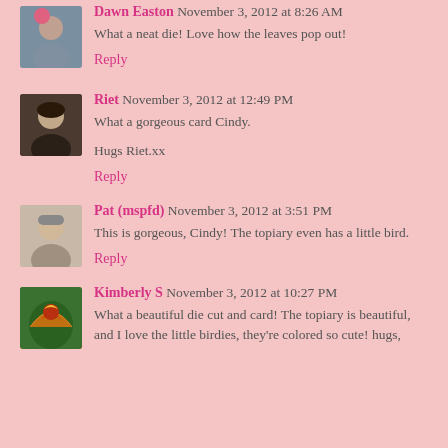Dawn Easton November 3, 2012 at 8:26 AM
What a neat die! Love how the leaves pop out!
Reply
Riet November 3, 2012 at 12:49 PM
What a gorgeous card Cindy.
Hugs Riet.xx
Reply
Pat (mspfd) November 3, 2012 at 3:51 PM
This is gorgeous, Cindy! The topiary even has a little bird.
Reply
Kimberly S November 3, 2012 at 10:27 PM
What a beautiful die cut and card! The topiary is beautiful, and I love the little birdies, they're colored so cute! hugs,